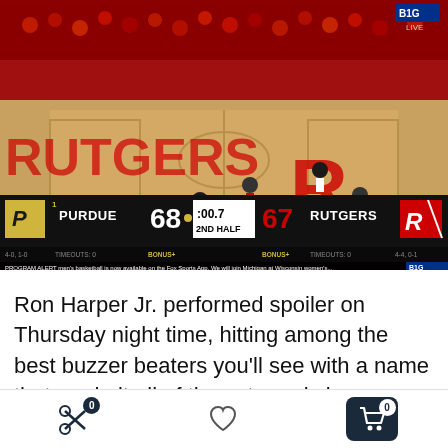[Figure (screenshot): Live Big Ten basketball game broadcast screenshot showing Purdue (#1) leading Rutgers 68-67 with 0.7 seconds left in the 2nd half]
Ron Harper Jr. performed spoiler on Thursday night time, hitting among the best buzzer beaters you'll see with a name that made it all of the extra epic in